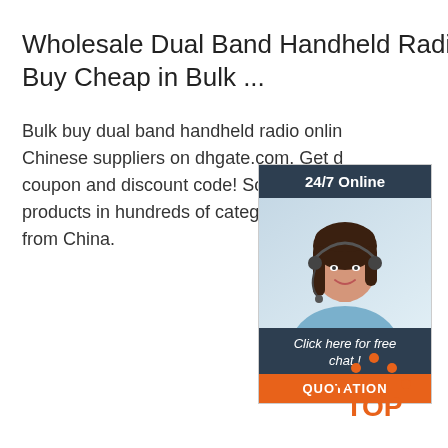Wholesale Dual Band Handheld Radio - Buy Cheap in Bulk ...
Bulk buy dual band handheld radio online from Chinese suppliers on dhgate.com. Get deals with coupon and discount code! Source high quality products in hundreds of categories wholesale direct from China.
[Figure (illustration): Customer service chat widget with a photo of a woman wearing a headset, '24/7 Online' header, 'Click here for free chat!' footer text, and an orange QUOTATION button.]
Get Price
[Figure (logo): TOP logo with orange dots arranged in an arc above the word TOP in orange letters.]